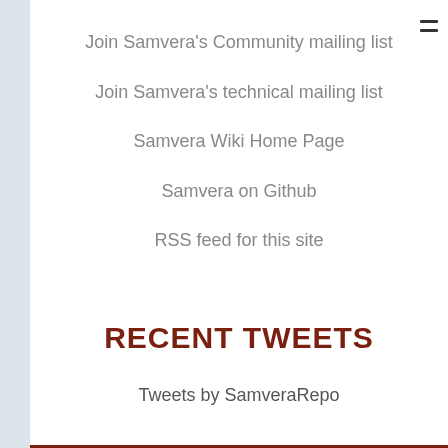Join Samvera's Community mailing list
Join Samvera's technical mailing list
Samvera Wiki Home Page
Samvera on Github
RSS feed for this site
RECENT TWEETS
Tweets by SamveraRepo